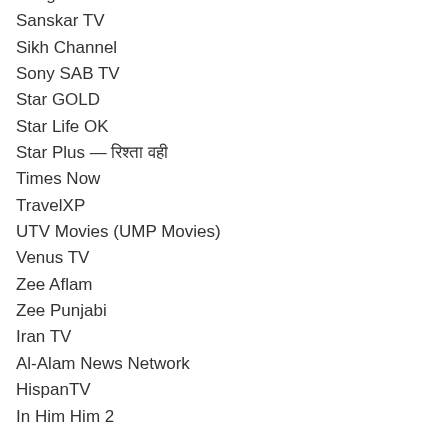Sangat TV
Sanskar TV
Sikh Channel
Sony SAB TV
Star GOLD
Star Life OK
Star Plus — रिश्ता वही
Times Now
TravelXP
UTV Movies (UMP Movies)
Venus TV
Zee Aflam
Zee Punjabi
Iran TV
Al-Alam News Network
HispanTV
In Him Him 2